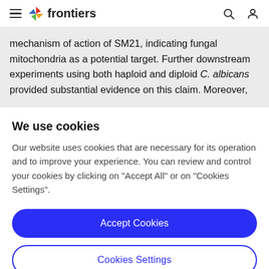frontiers
mechanism of action of SM21, indicating fungal mitochondria as a potential target. Further downstream experiments using both haploid and diploid C. albicans provided substantial evidence on this claim. Moreover,
We use cookies
Our website uses cookies that are necessary for its operation and to improve your experience. You can review and control your cookies by clicking on "Accept All" or on "Cookies Settings".
Accept Cookies
Cookies Settings